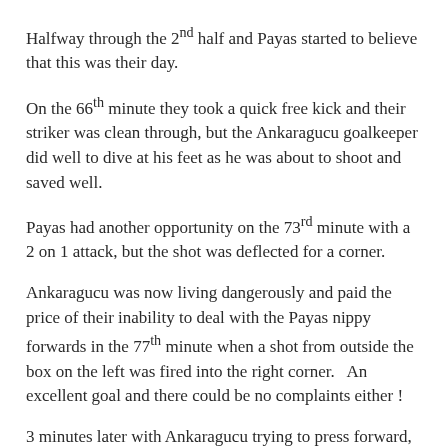Halfway through the 2nd half and Payas started to believe that this was their day.
On the 66th minute they took a quick free kick and their striker was clean through, but the Ankaragucu goalkeeper did well to dive at his feet as he was about to shoot and saved well.
Payas had another opportunity on the 73rd minute with a 2 on 1 attack, but the shot was deflected for a corner.
Ankaragucu was now living dangerously and paid the price of their inability to deal with the Payas nippy forwards in the 77th minute when a shot from outside the box on the left was fired into the right corner.   An excellent goal and there could be no complaints either !
3 minutes later with Ankaragucu trying to press forward, the Payas forwards broke away and an astute pass was crossed for the unmarked striker to go 1 on 1 with the goalkeeper.   He calmly rounded him and slotted in for a classic goal.